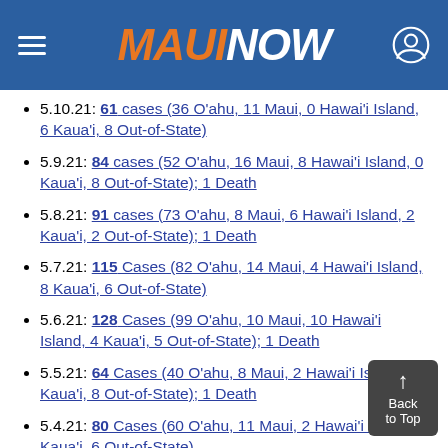MAUI NOW
5.10.21: 61 cases (36 O'ahu, 11 Maui, 0 Hawai'i Island, 6 Kaua'i, 8 Out-of-State)
5.9.21: 84 cases (52 O'ahu, 16 Maui, 8 Hawai'i Island, 0 Kaua'i, 8 Out-of-State); 1 Death
5.8.21: 91 cases (73 O'ahu, 8 Maui, 6 Hawai'i Island, 2 Kaua'i, 2 Out-of-State); 1 Death
5.7.21: 115 Cases (82 O'ahu, 14 Maui, 4 Hawai'i Island, 8 Kaua'i, 6 Out-of-State)
5.6.21: 128 Cases (99 O'ahu, 10 Maui, 10 Hawai'i Island, 4 Kaua'i, 5 Out-of-State); 1 Death
5.5.21: 64 Cases (40 O'ahu, 8 Maui, 2 Hawai'i Island, 6 Kaua'i, 8 Out-of-State); 1 Death
5.4.21: 80 Cases (60 O'ahu, 11 Maui, 2 Hawai'i Island, 1 Kaua'i, 6 Out-of-State)
5.3.21: 74 Cases (49 O'ahu, 11 Maui, 4 H…